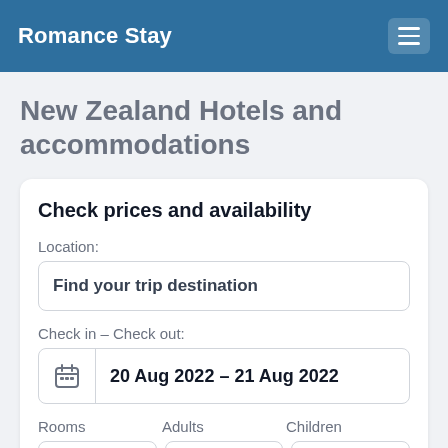Romance Stay
New Zealand Hotels and accommodations
Check prices and availability
Location:
Find your trip destination
Check in – Check out:
20 Aug 2022 – 21 Aug 2022
Rooms
Adults
Children